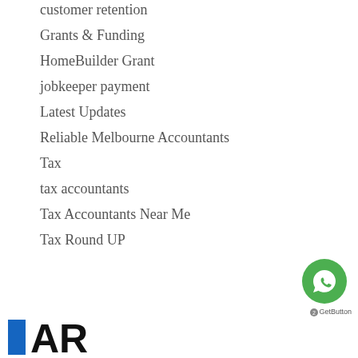customer retention
Grants & Funding
HomeBuilder Grant
jobkeeper payment
Latest Updates
Reliable Melbourne Accountants
Tax
tax accountants
Tax Accountants Near Me
Tax Round UP
[Figure (logo): Company logo with blue rectangle and bold text starting with 'A' and 'R']